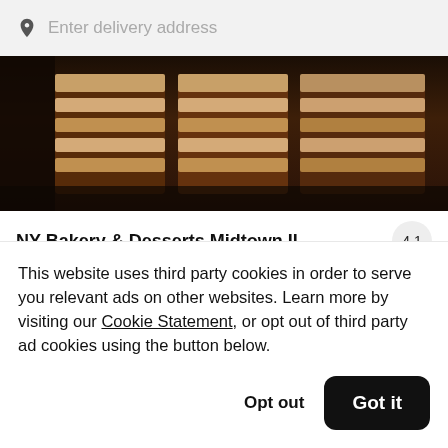Enter delivery address
[Figure (photo): Hero image showing chocolate cake slices with layered filling on a dark background]
NY Bakery & Desserts Midtown II
This website uses third party cookies in order to serve you relevant ads on other websites. Learn more by visiting our Cookie Statement, or opt out of third party ad cookies using the button below.
Opt out
Got it